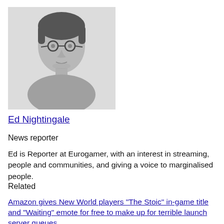[Figure (photo): Black and white headshot photo of a young man with glasses and light stubble, wearing a casual grey top, against a light grey background.]
Ed Nightingale
News reporter
Ed is Reporter at Eurogamer, with an interest in streaming, people and communities, and giving a voice to marginalised people.
Related
Amazon gives New World players "The Stoic" in-game title and "Waiting" emote for free to make up for terrible launch server queues